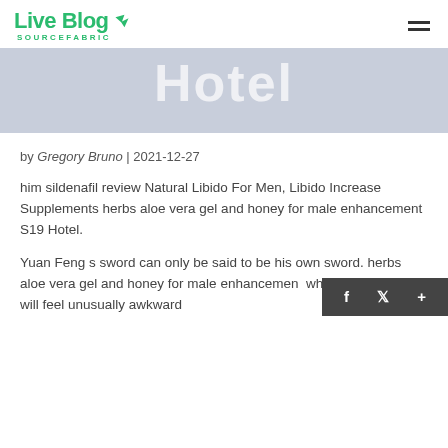Live Blog SOURCEFABRIC
[Figure (illustration): Hero banner with light blue-grey background showing faded large white text 'Hotel']
by Gregory Bruno | 2021-12-27
him sildenafil review Natural Libido For Men, Libido Increase Supplements herbs aloe vera gel and honey for male enhancement S19 Hotel.
Yuan Feng s sword can only be said to be his own sword. herbs aloe vera gel and honey for male enhancement who uses this sword will feel unusually awkward